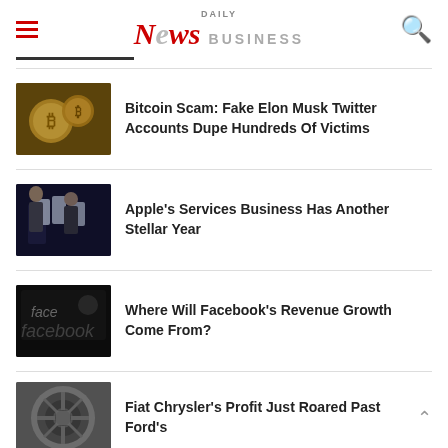DAILY News BUSINESS
Bitcoin Scam: Fake Elon Musk Twitter Accounts Dupe Hundreds Of Victims
Apple's Services Business Has Another Stellar Year
Where Will Facebook's Revenue Growth Come From?
Fiat Chrysler's Profit Just Roared Past Ford's